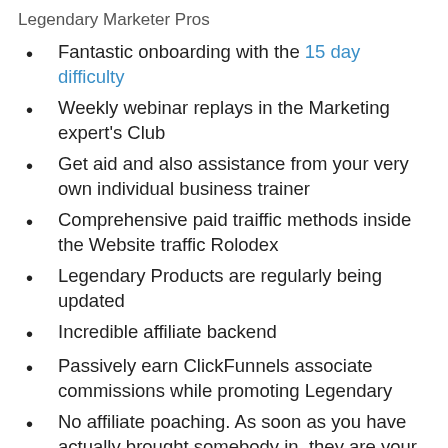Legendary Marketer Pros
Fantastic onboarding with the 15 day difficulty
Weekly webinar replays in the Marketing expert's Club
Get aid and also assistance from your very own individual business trainer
Comprehensive paid traiffic methods inside the Website traffic Rolodex
Legendary Products are regularly being updated
Incredible affiliate backend
Passively earn ClickFunnels associate commissions while promoting Legendary
No affiliate poaching. As soon as you have actually brought somebody in, they are your lead for life
Really responsive consumer support